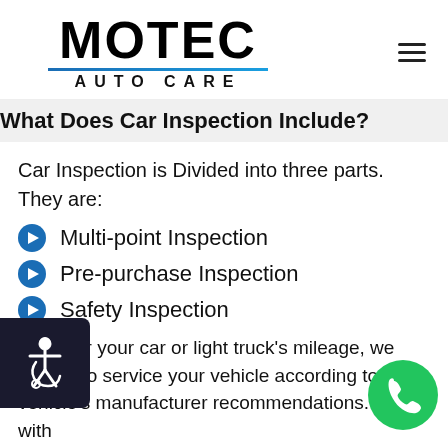[Figure (logo): MOTEC AUTO CARE logo with bold black text and blue underline]
What Does Car Inspection Include?
Car Inspection is Divided into three parts. They are:
Multi-point Inspection
Pre-purchase Inspection
Safety Inspection
...ver your car or light truck's mileage, we trained to service your vehicle according to your vehicle's manufacturer recommendations. As with